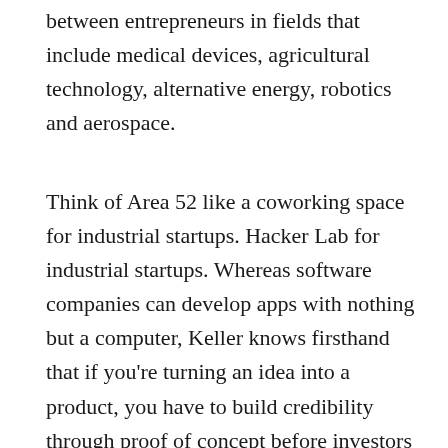between entrepreneurs in fields that include medical devices, agricultural technology, alternative energy, robotics and aerospace.
Think of Area 52 like a coworking space for industrial startups. Hacker Lab for industrial startups. Whereas software companies can develop apps with nothing but a computer, Keller knows firsthand that if you're turning an idea into a product, you have to build credibility through proof of concept before investors take you seriously.